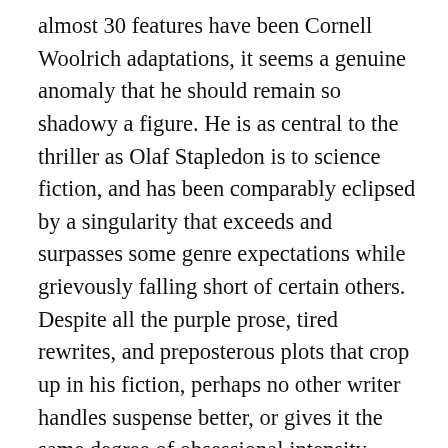almost 30 features have been Cornell Woolrich adaptations, it seems a genuine anomaly that he should remain so shadowy a figure. He is as central to the thriller as Olaf Stapledon is to science fiction, and has been comparably eclipsed by a singularity that exceeds and surpasses some genre expectations while grievously falling short of certain others. Despite all the purple prose, tired rewrites, and preposterous plots that crop up in his fiction, perhaps no other writer handles suspense better, or gives it the same degree of obsessional intensity. More soft-boiled than hard-boiled in the depiction of his heroes and heroines, Woolrich nonetheless seems central to